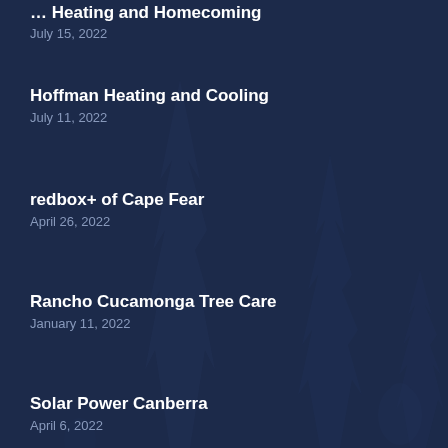[truncated title] Heating and Homecoming
July 15, 2022
Hoffman Heating and Cooling
July 11, 2022
redbox+ of Cape Fear
April 26, 2022
Rancho Cucamonga Tree Care
January 11, 2022
Solar Power Canberra
April 6, 2022
Vapes N Hookah